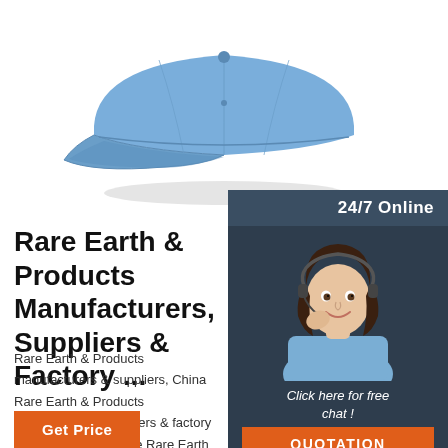[Figure (photo): A light blue baseball cap product photo on white background]
[Figure (infographic): 24/7 Online customer service panel with a smiling female agent wearing headset, 'Click here for free chat!' text, and an orange QUOTATION button]
Rare Earth & Products Manufacturers, Suppliers & Factory ...
Rare Earth & Products manufacturers & suppliers, China Rare Earth & Products manufacturers, suppliers & factory directory, find Chinese Rare Earth & Products manufacturers, suppliers, factories, exporters and wholesalers easily on Made-in-China.com.
[Figure (logo): Orange TOP badge with dots forming a triangle above the letters TOP]
Get Price